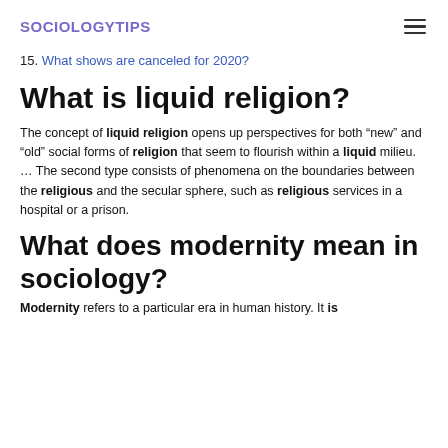SOCIOLOGYTIPS
15. What shows are canceled for 2020?
What is liquid religion?
The concept of liquid religion opens up perspectives for both “new” and “old” social forms of religion that seem to flourish within a liquid milieu. … The second type consists of phenomena on the boundaries between the religious and the secular sphere, such as religious services in a hospital or a prison.
What does modernity mean in sociology?
Modernity refers to a particular era in human history. It is